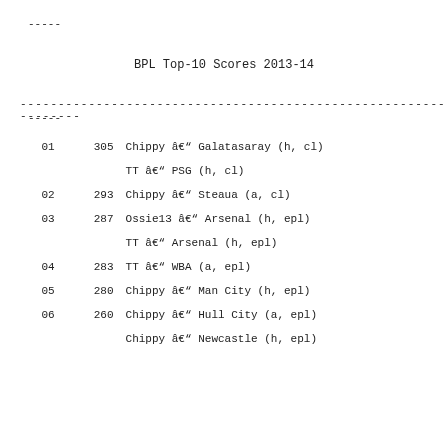-----
BPL Top-10 Scores 2013-14
----------------------------------------------------------------
-----
| Rank | Score | Description |
| --- | --- | --- |
| 01 | 305 | Chippy â€" Galatasaray (h, cl) |
|  |  | TT â€" PSG (h, cl) |
| 02 | 293 | Chippy â€" Steaua (a, cl) |
| 03 | 287 | Ossie13 â€" Arsenal (h, epl) |
|  |  | TT â€" Arsenal (h, epl) |
| 04 | 283 | TT â€" WBA (a, epl) |
| 05 | 280 | Chippy â€" Man City (h, epl) |
| 06 | 260 | Chippy â€" Hull City (a, epl) |
|  |  | Chippy â€" Newcastle (h, epl) |